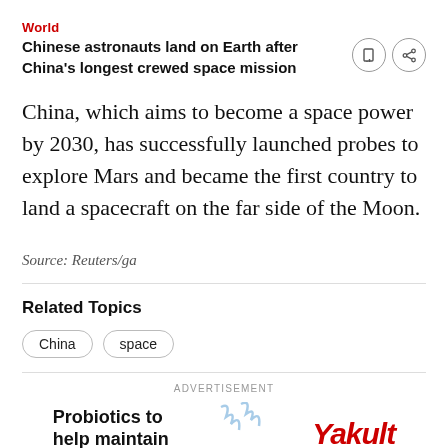World
Chinese astronauts land on Earth after China's longest crewed space mission
China, which aims to become a space power by 2030, has successfully launched probes to explore Mars and became the first country to land a spacecraft on the far side of the Moon.
Source: Reuters/ga
Related Topics
China
space
ADVERTISEMENT
Probiotics to help maintain
Yakult